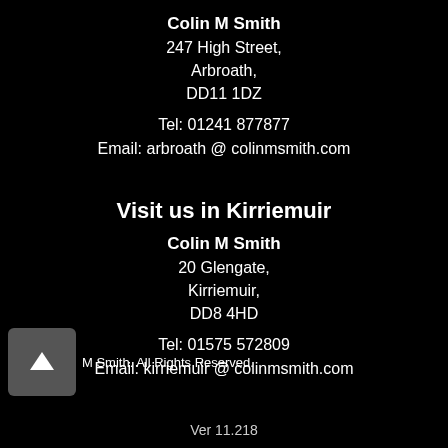Colin M Smith
247 High Street,
Arbroath,
DD11 1DZ
Tel: 01241 877877
Email: arbroath @ colinmsmith.com
Visit us in Kirriemuir
Colin M Smith
20 Glengate,
Kirriemuir,
DD8 4HD
Tel: 01575 572809
Email: kirriemuir @ colinmsmith.com
M Smith. All Rights Reserved.
Ver 11.218